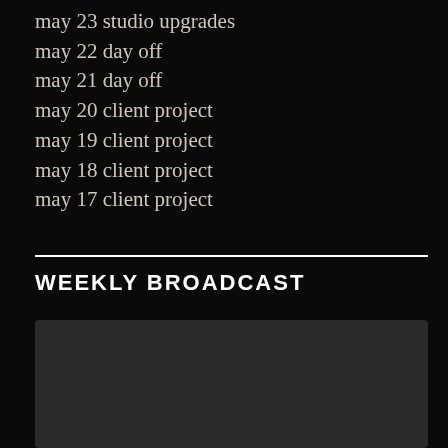may 23 studio upgrades
may 22 day off
may 21 day off
may 20 client project
may 19 client project
may 18 client project
may 17 client project
WEEKLY BROADCAST
[Figure (other): Dark grey video player placeholder rectangle]